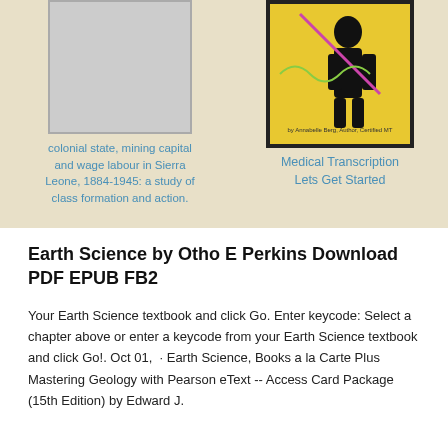[Figure (photo): Gray placeholder book cover image on beige background]
colonial state, mining capital and wage labour in Sierra Leone, 1884-1945: a study of class formation and action.
[Figure (photo): Yellow book cover with silhouette figure and text: by Annabelle Berg, Author, Certified MT]
Medical Transcription Lets Get Started
Earth Science by Otho E Perkins Download PDF EPUB FB2
Your Earth Science textbook and click Go. Enter keycode: Select a chapter above or enter a keycode from your Earth Science textbook and click Go!. Oct 01,  · Earth Science, Books a la Carte Plus Mastering Geology with Pearson eText -- Access Card Package (15th Edition) by Edward J.